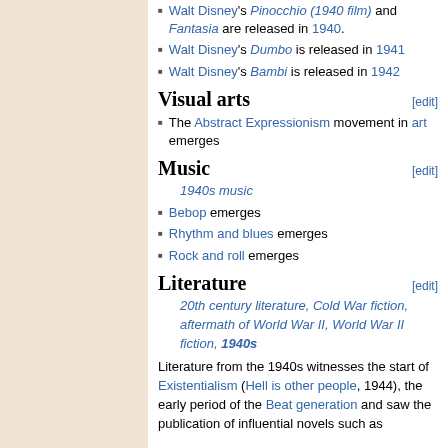Walt Disney's Pinocchio (1940 film) and Fantasia are released in 1940.
Walt Disney's Dumbo is released in 1941
Walt Disney's Bambi is released in 1942
Visual arts
The Abstract Expressionism movement in art emerges
Music
1940s music
Bebop emerges
Rhythm and blues emerges
Rock and roll emerges
Literature
20th century literature, Cold War fiction, aftermath of World War II, World War II fiction, 1940s
Literature from the 1940s witnesses the start of Existentialism (Hell is other people, 1944), the early period of the Beat generation and saw the publication of influential novels such as